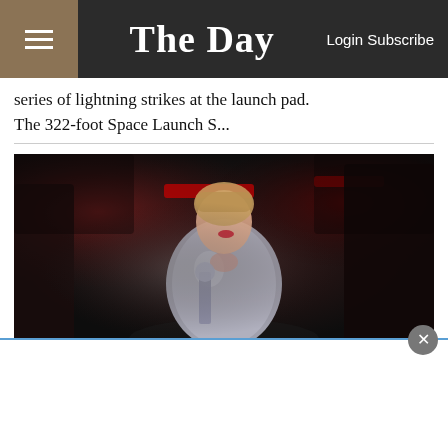The Day — Login Subscribe
series of lightning strikes at the launch pad. The 322-foot Space Launch S...
[Figure (photo): Taylor Swift in a silver/crystal embellished dress holding an award (MTV moonman trophy) on stage at the MTV VMAs, with red stage lighting in background]
Taylor Swift wins top prize at MTV VMAs